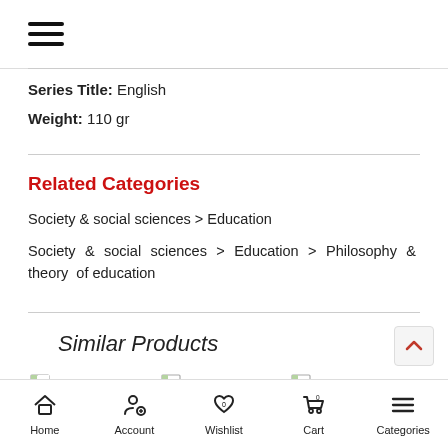☰ (hamburger menu)
Series Title: English
Weight: 110 gr
Related Categories
Society & social sciences > Education
Society & social sciences > Education > Philosophy & theory of education
Similar Products
Hospital  Fundamentls of  Strangers to
Home  Account  Wishlist  Cart  Categories